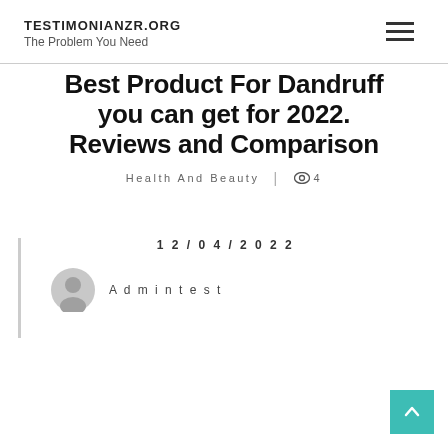TESTIMONIANZR.ORG
The Problem You Need
Best Product For Dandruff you can get for 2022. Reviews and Comparison
Health And Beauty  |  4
12/04/2022
Admintest